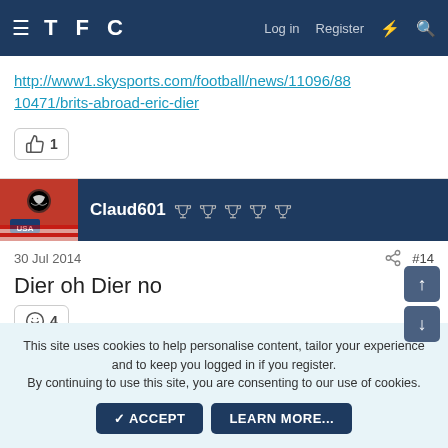TFC — Log in  Register
http://www1.skysports.com/football/news/11096/8810471/brits-abroad-eric-dier
👍 1
Claud601 🏆🏆🏆🏆🏆
30 Jul 2014  #14
Dier oh Dier no
😄 4
This site uses cookies to help personalise content, tailor your experience and to keep you logged in if you register.
By continuing to use this site, you are consenting to our use of cookies.
✓ ACCEPT   LEARN MORE...